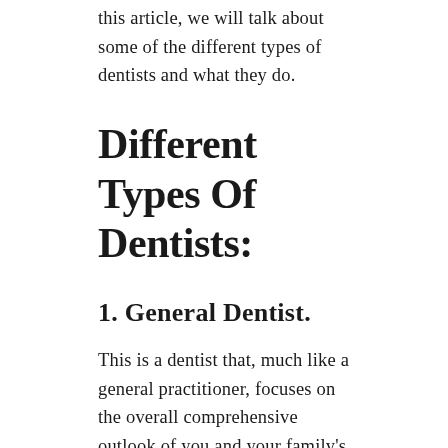this article, we will talk about some of the different types of dentists and what they do.
Different Types Of Dentists:
1. General Dentist.
This is a dentist that, much like a general practitioner, focuses on the overall comprehensive outlook of you and your family's dental health. This is the most common type of dentist that you will find